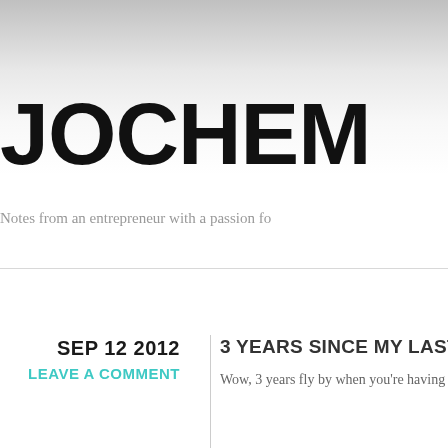JOCHEM
Notes from an entrepreneur with a passion fo…
SEP 12 2012
LEAVE A COMMENT
3 YEARS SINCE MY LAST
Wow, 3 years fly by when you're having t…